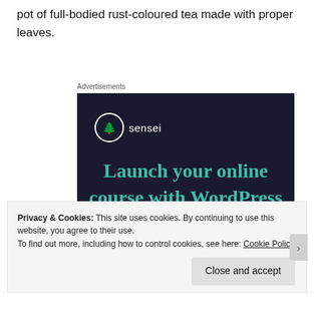pot of full-bodied rust-coloured tea made with proper leaves.
Advertisements
[Figure (illustration): Sensei advertisement: dark navy background with Sensei logo (tree icon in circle), teal headline text 'Launch your online course with WordPress', and a teal rounded 'Learn More' button.]
Privacy & Cookies: This site uses cookies. By continuing to use this website, you agree to their use.
To find out more, including how to control cookies, see here: Cookie Policy
Close and accept